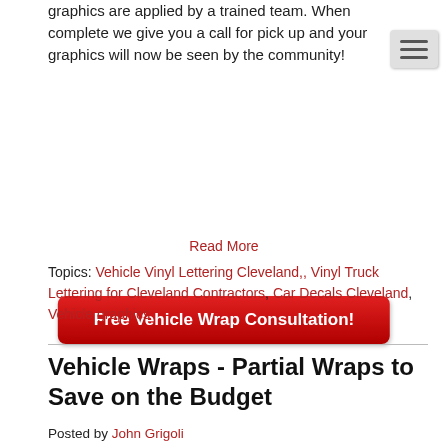graphics are applied by a trained team. When complete we give you a call for pick up and your graphics will now be seen by the community!
[Figure (other): Red CTA button: Free Vehicle Wrap Consultation!]
Read More
Topics: Vehicle Vinyl Lettering Cleveland,, Vinyl Truck Lettering for Cleveland Contractors, Car Decals Cleveland, Vehicle graphics
Vehicle Wraps - Partial Wraps to Save on the Budget
Posted by John Grigoli
Feb 16, 2020 9:04:00 PM
[Figure (photo): Dark green/black image strip at bottom of page]